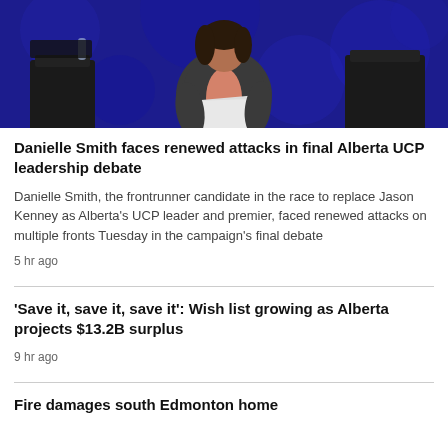[Figure (photo): A person standing at a podium or debate stage with a blue/dark background, wearing a coral/salmon top under a dark blazer, holding papers. Debate setting with chairs visible.]
Danielle Smith faces renewed attacks in final Alberta UCP leadership debate
Danielle Smith, the frontrunner candidate in the race to replace Jason Kenney as Alberta's UCP leader and premier, faced renewed attacks on multiple fronts Tuesday in the campaign's final debate
5 hr ago
'Save it, save it, save it': Wish list growing as Alberta projects $13.2B surplus
9 hr ago
Fire damages south Edmonton home